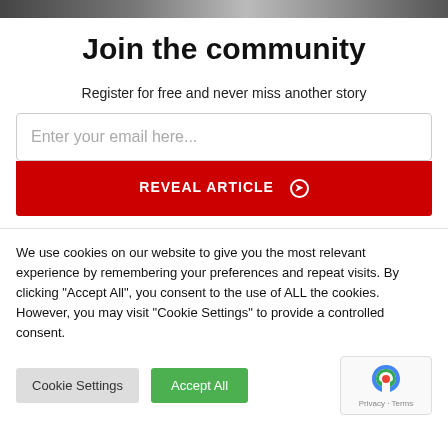[Figure (photo): Top strip showing partial images/photos at the top of the page]
Join the community
Register for free and never miss another story
Enter your email here...
REVEAL ARTICLE ➔
We use cookies on our website to give you the most relevant experience by remembering your preferences and repeat visits. By clicking "Accept All", you consent to the use of ALL the cookies. However, you may visit "Cookie Settings" to provide a controlled consent.
Cookie Settings
Accept All